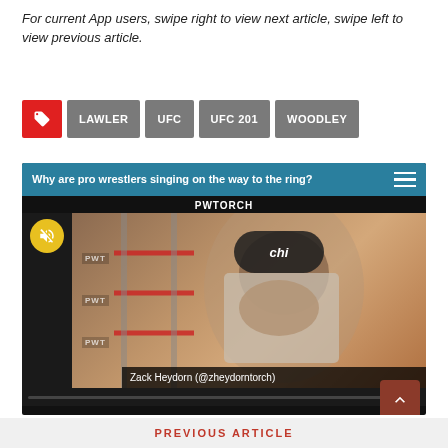For current App users, swipe right to view next article, swipe left to view previous article.
[Figure (infographic): Tag buttons row: red tag icon, LAWLER, UFC, UFC 201, WOODLEY]
[Figure (screenshot): Video player showing 'Why are pro wrestlers singing on the way to the ring?' with PWTORCH branding, muted yellow button, PWT watermarks, person wearing black cap in wrestling ring, name bar 'Zack Heydorn (@zheydorntoch)']
PREVIOUS ARTICLE